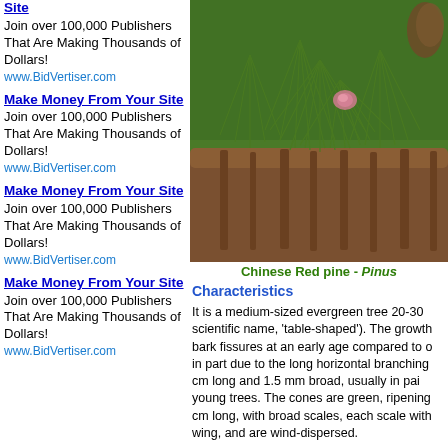Make Money From Your Site
Join over 100,000 Publishers That Are Making Thousands of Dollars!
www.BidVertiser.com
Make Money From Your Site
Join over 100,000 Publishers That Are Making Thousands of Dollars!
www.BidVertiser.com
Make Money From Your Site
Join over 100,000 Publishers That Are Making Thousands of Dollars!
www.BidVertiser.com
Make Money From Your Site
Join over 100,000 Publishers That Are Making Thousands of Dollars!
www.BidVertiser.com
[Figure (photo): Close-up photo of Chinese Red pine branch with needles, a small pink bud, and pine cone, against green background]
Chinese Red pine - Pinus
Characteristics
It is a medium-sized evergreen tree 20-30 scientific name, 'table-shaped'). The growth bark fissures at an early age compared to o in part due to the long horizontal branching cm long and 1.5 mm broad, usually in pai young trees. The cones are green, ripening cm long, with broad scales, each scale with wing, and are wind-dispersed.
Distribution